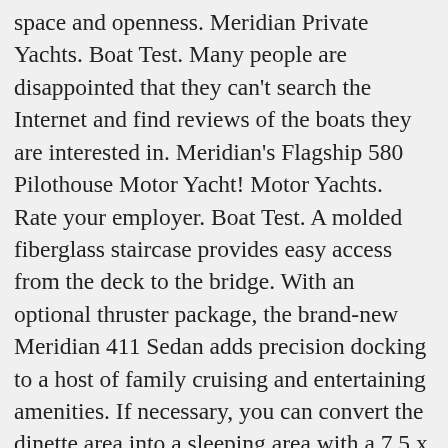space and openness. Meridian Private Yachts. Boat Test. Many people are disappointed that they can't search the Internet and find reviews of the boats they are interested in. Meridian's Flagship 580 Pilothouse Motor Yacht! Motor Yachts. Rate your employer. Boat Test. A molded fiberglass staircase provides easy access from the deck to the bridge. With an optional thruster package, the brand-new Meridian 411 Sedan adds precision docking to a host of family cruising and entertaining amenities. If necessary, you can convert the dinette area into a sleeping area with a 7.5 x 5-ft. foldout bed. Book 40th Meridian Yacht-Club, Kolomna on Tripadvisor: See 80 traveller reviews, 101 candid photos, and great deals for 40th Meridian Yacht-Club, ranked #3 of 5 hotels in Kolomna and rated 4.5 of 5 at Tripadvisor. Meridian 408. Category Motor Yachts . 4. if the inpection was a good one we also got free lunch. Named Meridian, the new line will consist of seven motor yachts ranging in length from 35 to 60 ft. and will b...